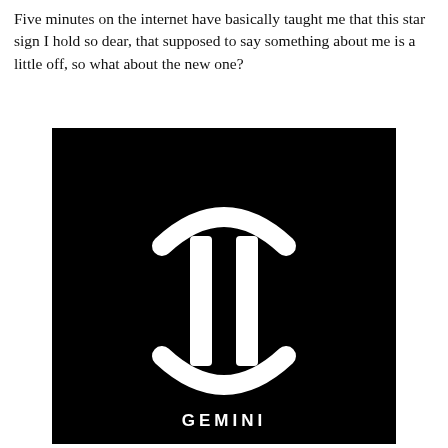Five minutes on the internet have basically taught me that this star sign I hold so dear, that supposed to say something about me is a little off, so what about the new one?
[Figure (illustration): Black square image showing the Gemini zodiac symbol (two vertical pillars connected by curved arcs at top and bottom) in white, with the word GEMINI in bold white capital letters at the bottom.]